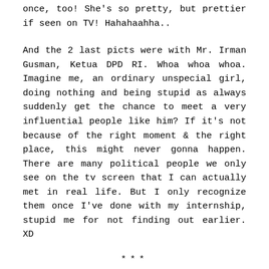once, too! She's so pretty, but prettier if seen on TV! Hahahaahha..
And the 2 last picts were with Mr. Irman Gusman, Ketua DPD RI. Whoa whoa whoa. Imagine me, an ordinary unspecial girl, doing nothing and being stupid as always suddenly get the chance to meet a very influential people like him? If it's not because of the right moment & the right place, this might never gonna happen. There are many political people we only see on the tv screen that I can actually met in real life. But I only recognize them once I've done with my internship, stupid me for not finding out earlier. XD
***
All in all I feel so blessed to have such an experience. Never in my life I thought I will have a chance to meet